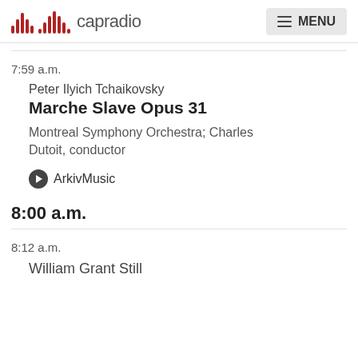capradio | MENU
7:59 a.m.
Peter Ilyich Tchaikovsky
Marche Slave Opus 31
Montreal Symphony Orchestra; Charles Dutoit, conductor
ArkivMusic
8:00 a.m.
8:12 a.m.
William Grant Still